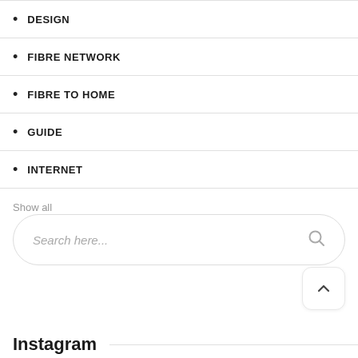DESIGN
FIBRE NETWORK
FIBRE TO HOME
GUIDE
INTERNET
Show all
[Figure (other): Search input box with placeholder text 'Search here...' and a search icon on the right]
[Figure (other): Back to top button with upward chevron arrow]
Instagram